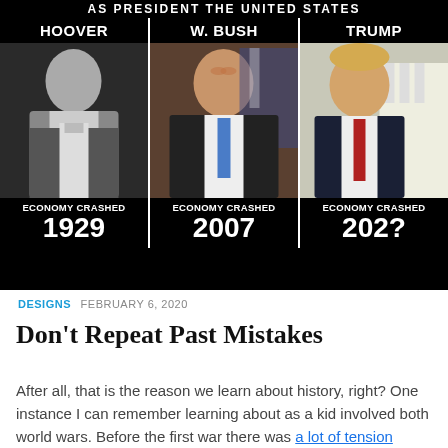[Figure (infographic): A political meme on a black background showing three US presidents (Hoover, W. Bush, Trump) with captions 'ECONOMY CRASHED 1929', 'ECONOMY CRASHED 2007', 'ECONOMY CRASHED 202?' respectively. Top text partially visible reads 'AS PRESIDENT THE UNITED STATES'.]
DESIGNS  FEBRUARY 6, 2020
Don't Repeat Past Mistakes
After all, that is the reason we learn about history, right? One instance I can remember learning about as a kid involved both world wars. Before the first war there was a lot of tension between France and Germany to a point